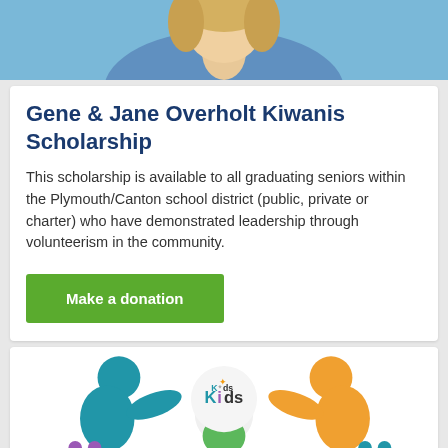[Figure (photo): Partial photo of a person with blonde hair against a blue background, cropped at the top of the page]
Gene & Jane Overholt Kiwanis Scholarship
This scholarship is available to all graduating seniors within the Plymouth/Canton school district (public, private or charter) who have demonstrated leadership through volunteerism in the community.
Make a donation
[Figure (logo): Kids logo with colorful figures (blue, green, orange) holding hands and the word Kids in the center, partially visible at bottom of page]